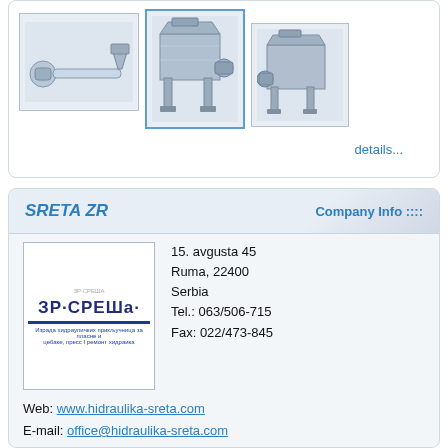[Figure (photo): Three product images of industrial hydraulic or conveyor machinery components shown side by side]
details...
SRETA ZR
Company Info ::::
[Figure (logo): ZR-SREDA company logo with Cyrillic text and blue bar]
15. avgusta 45
Ruma, 22400
Serbia
Tel.: 063/506-715
Fax: 022/473-845
Web: www.hidraulika-sreta.com
E-mail: office@hidraulika-sreta.com
Other Categories:
agricultural